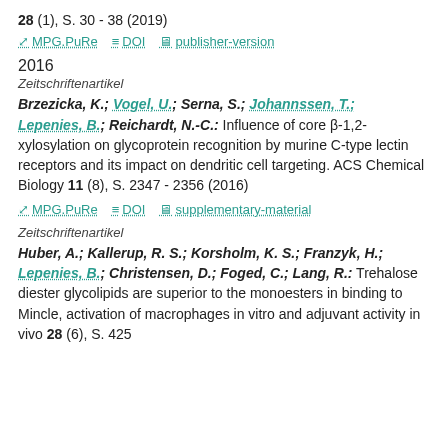28 (1), S. 30 - 38 (2019)
MPG.PuRe  DOI  publisher-version
2016
Zeitschriftenartikel
Brzezicka, K.; Vogel, U.; Serna, S.; Johannssen, T.; Lepenies, B.; Reichardt, N.-C.: Influence of core β-1,2-xylosylation on glycoprotein recognition by murine C-type lectin receptors and its impact on dendritic cell targeting. ACS Chemical Biology 11 (8), S. 2347 - 2356 (2016)
MPG.PuRe  DOI  supplementary-material
Zeitschriftenartikel
Huber, A.; Kallerup, R. S.; Korsholm, K. S.; Franzyk, H.; Lepenies, B.; Christensen, D.; Foged, C.; Lang, R.: Trehalose diester glycolipids are superior to the monoesters in binding to Mincle, activation of macrophages in vitro and adjuvant activity in vivo... 28 (6), S. 425